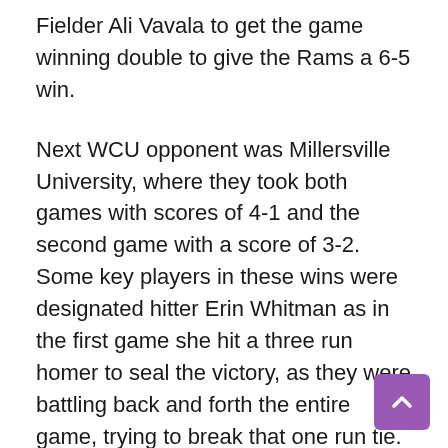Fielder Ali Vavala to get the game winning double to give the Rams a 6-5 win.
Next WCU opponent was Millersville University, where they took both games with scores of 4-1 and the second game with a score of 3-2. Some key players in these wins were designated hitter Erin Whitman as in the first game she hit a three run homer to seal the victory, as they were battling back and forth the entire game, trying to break that one run tie.
In the second game, Millersville took a quick 2-0 lead early in the first and sixth innings, but the Lady Rams fought back as they rallied to get two runs in the bottom of the sixth inning to send the game to extra innings! Afterward R... hit th...